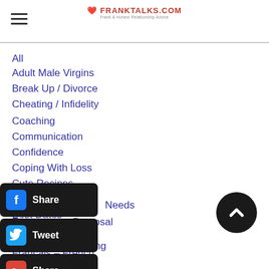FrankTalks.com navigation header with hamburger menu and logo
All
Adult Male Virgins
Break Up / Divorce
Cheating / Infidelity
Coaching
Communication
Confidence
Coping With Loss
Cute Recipes
Dating
Best Dates
Online Dating
Dating Speed Dating
Dating Needs
Engagement Proposal
Français French
Français – French
[Figure (infographic): Social share buttons: Facebook Share, Twitter Tweet, Google+ Share, LinkedIn Share, Pinterest Pin It, Blogger Share, More — overlaid on the navigation list]
[Figure (other): Back to top circular button with upward chevron arrow, dark/black background]